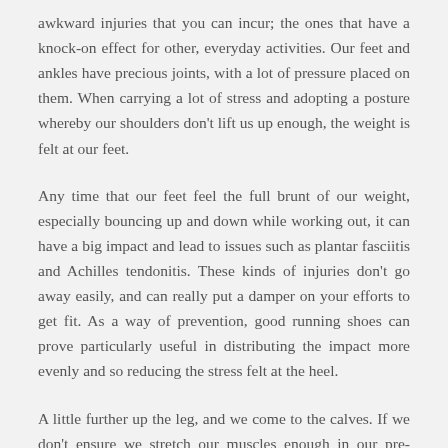awkward injuries that you can incur; the ones that have a knock-on effect for other, everyday activities. Our feet and ankles have precious joints, with a lot of pressure placed on them. When carrying a lot of stress and adopting a posture whereby our shoulders don't lift us up enough, the weight is felt at our feet.
Any time that our feet feel the full brunt of our weight, especially bouncing up and down while working out, it can have a big impact and lead to issues such as plantar fasciitis and Achilles tendonitis. These kinds of injuries don't go away easily, and can really put a damper on your efforts to get fit. As a way of prevention, good running shoes can prove particularly useful in distributing the impact more evenly and so reducing the stress felt at the heel.
A little further up the leg, and we come to the calves. If we don't ensure we stretch our muscles enough in our pre-fitness endeavors, it will be a lot more painful